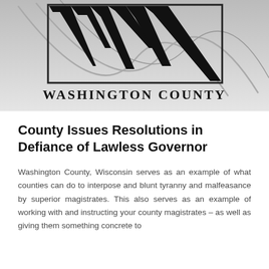[Figure (logo): Washington County logo: large stylized W letterform in black with curved grey lines forming a circular/arc design, above the text WASHINGTON COUNTY in bold serif capitals, on a grey gradient background]
County Issues Resolutions in Defiance of Lawless Governor
Washington County, Wisconsin serves as an example of what counties can do to interpose and blunt tyranny and malfeasance by superior magistrates. This also serves as an example of working with and instructing your county magistrates – as well as giving them something concrete to